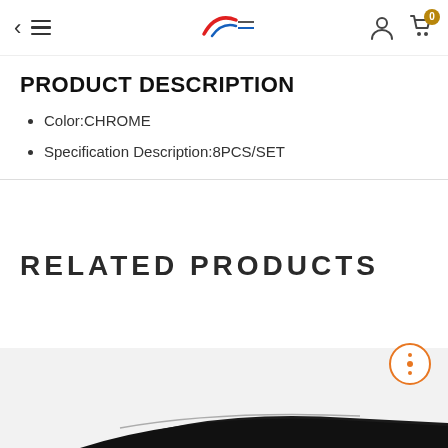Navigation bar with back arrow, menu icon, logo, user icon, and cart (0)
PRODUCT DESCRIPTION
Color:CHROME
Specification Description:8PCS/SET
RELATED PRODUCTS
[Figure (photo): Partial view of a dark automotive wind deflector/rain guard product at the bottom of the page]